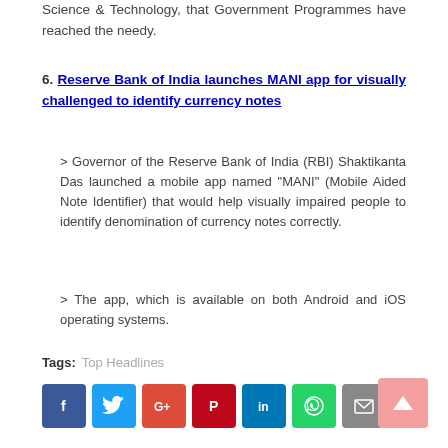Science & Technology, that Government Programmes have reached the needy.
6. Reserve Bank of India launches MANI app for visually challenged to identify currency notes
> Governor of the Reserve Bank of India (RBI) Shaktikanta Das launched a mobile app named "MANI" (Mobile Aided Note Identifier) that would help visually impaired people to identify denomination of currency notes correctly.
> The app, which is available on both Android and iOS operating systems.
Tags: Top Headlines
[Figure (other): Social media share buttons: Facebook, Twitter, Google+, Pinterest, LinkedIn, WhatsApp, Email, and a scroll-to-top button]